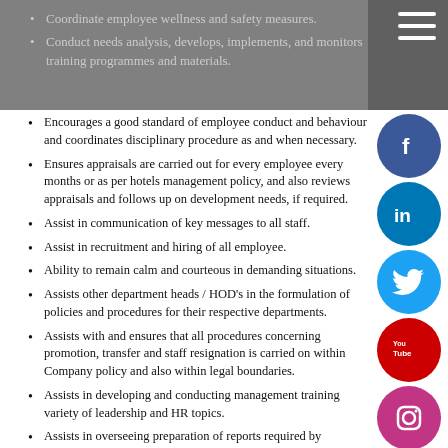Coordinate employee wellness and safety measures.
Conduct needs analysis, develops, implements, and monitors training programmes and materials.
Encourages a good standard of employee conduct and behaviour and coordinates disciplinary procedure as and when necessary.
Ensures appraisals are carried out for every employee every months or as per hotels management policy, and also reviews appraisals and follows up on development needs, if required.
Assist in communication of key messages to all staff.
Assist in recruitment and hiring of all employee.
Ability to remain calm and courteous in demanding situations.
Assists other department heads / HOD's in the formulation of policies and procedures for their respective departments.
Assists with and ensures that all procedures concerning promotion, transfer and staff resignation is carried on within Company policy and also within legal boundaries.
Assists in developing and conducting management training variety of leadership and HR topics.
Assists in overseeing preparation of reports required by government agencies.
Oversee Workers Compensation programs, ensuring claims and reports are submitted in a timely basis.
Support operational efforts through proper staffing and training